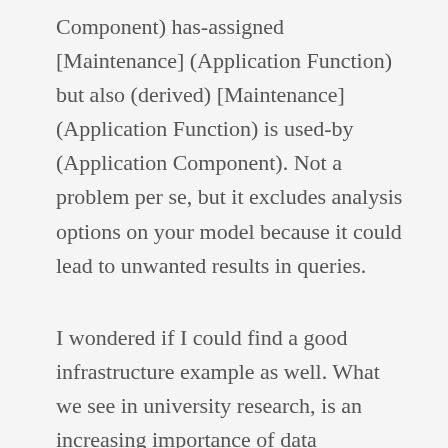Component) has-assigned [Maintenance] (Application Function) but also (derived) [Maintenance] (Application Function) is used-by (Application Component). Not a problem per se, but it excludes analysis options on your model because it could lead to unwanted results in queries.
I wondered if I could find a good infrastructure example as well. What we see in university research, is an increasing importance of data management. The functionality required there is very close to infrastructure: maintaining data integrity, providing auditability, secure and